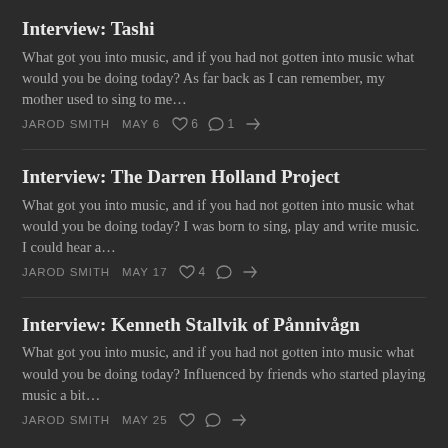Interview: Tashi
What got you into music, and if you had not gotten into music what would you be doing today? As far back as I can remember, my mother used to sing to me…
JAROD SMITH   MAY 6   ♡ 6   ○ 1   ↗
Interview: The Darren Holland Project
What got you into music, and if you had not gotten into music what would you be doing today? I was born to sing, play and write music. I could hear a…
JAROD SMITH   MAY 17   ♡ 4   ○   ↗
Interview: Kenneth Stallvik of Pånnivågn
What got you into music, and if you had not gotten into music what would you be doing today? Influenced by friends who started playing music a bit…
JAROD SMITH   MAY 25   ♡   ○   ↗